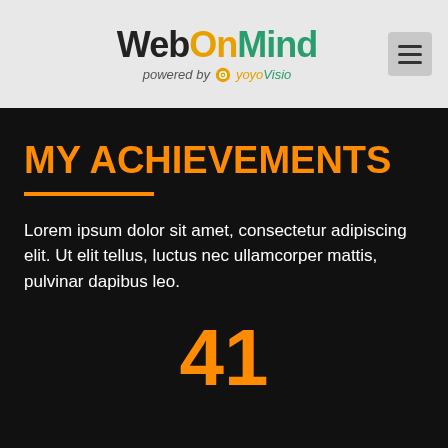WebOnMind powered by yoyoVisio
MY ACHIEVEMENTS
Lorem ipsum dolor sit amet, consectetur adipiscing elit. Ut elit tellus, luctus nec ullamcorper mattis, pulvinar dapibus leo.
41